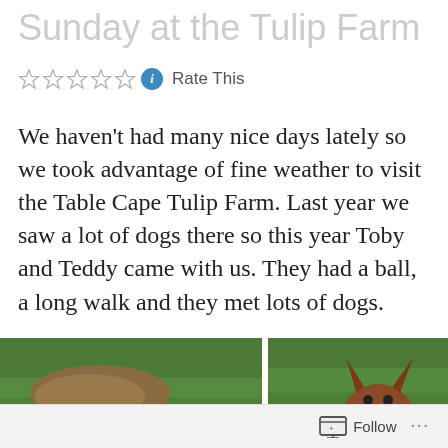Sunday at the Tulip Farm
Rate This
We haven't had many nice days lately so we took advantage of fine weather to visit the Table Cape Tulip Farm. Last year we saw a lot of dogs there so this year Toby and Teddy came with us. They had a ball, a long walk and they met lots of dogs.
[Figure (photo): White dog partially visible in green grass at the tulip farm]
[Figure (photo): Brown dog with pointed ears visible above green grass at the tulip farm]